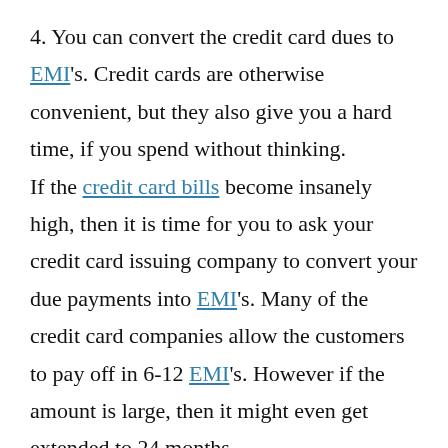4. You can convert the credit card dues to EMI's. Credit cards are otherwise convenient, but they also give you a hard time, if you spend without thinking. If the credit card bills become insanely high, then it is time for you to ask your credit card issuing company to convert your due payments into EMI's. Many of the credit card companies allow the customers to pay off in 6-12 EMI's. However if the amount is large, then it might even get extended to 24 months.